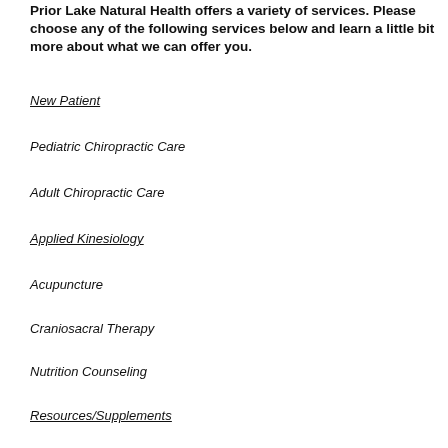Prior Lake Natural Health offers a variety of services. Please choose any of the following services below and learn a little bit more about what we can offer you.
New Patient
Pediatric Chiropractic Care
Adult Chiropractic Care
Applied Kinesiology
Acupuncture
Craniosacral Therapy
Nutrition Counseling
Resources/Supplements